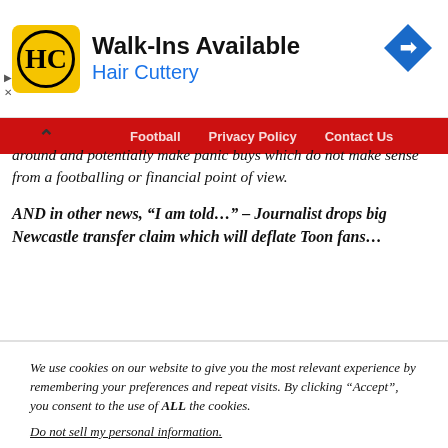[Figure (other): Hair Cuttery advertisement banner with yellow HC logo icon, text 'Walk-Ins Available' and 'Hair Cuttery' in blue, and a blue diamond navigation arrow icon on the right]
Football   Privacy Policy   Contact Us
around and potentially make panic buys which do not make sense from a footballing or financial point of view.
AND in other news, “I am told…” – Journalist drops big Newcastle transfer claim which will deflate Toon fans…
We use cookies on our website to give you the most relevant experience by remembering your preferences and repeat visits. By clicking “Accept”, you consent to the use of ALL the cookies.
Do not sell my personal information.